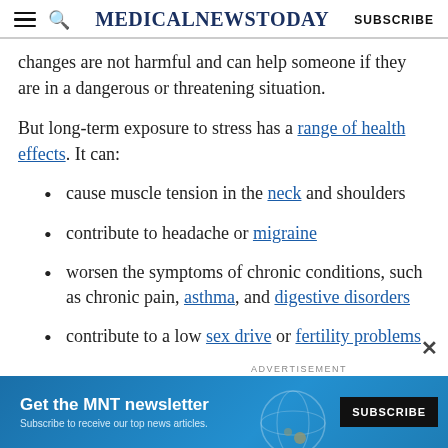MedicalNewsToday SUBSCRIBE
changes are not harmful and can help someone if they are in a dangerous or threatening situation.
But long-term exposure to stress has a range of health effects. It can:
cause muscle tension in the neck and shoulders
contribute to headache or migraine
worsen the symptoms of chronic conditions, such as chronic pain, asthma, and digestive disorders
contribute to a low sex drive or fertility problems
raise the risk of high blood pressure, heart
[Figure (other): Advertisement banner: Get the MNT newsletter - Subscribe to receive our top news articles. With a SUBSCRIBE button and a globe graphic.]